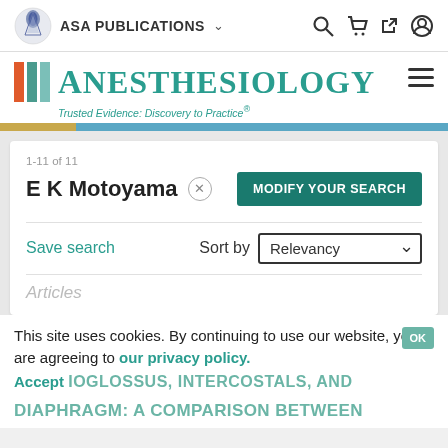ASA PUBLICATIONS
[Figure (logo): ASA Publications logo with Anesthesiology journal branding. Colored bars (orange, teal, light teal) next to the word ANESTHESIOLOGY in large teal serif font. Tagline: Trusted Evidence: Discovery to Practice®]
1-11 of 11
E K Motoyama ×
MODIFY YOUR SEARCH
Save search
Sort by Relevancy
Articles
This site uses cookies. By continuing to use our website, you are agreeing to our privacy policy. Accept
HYOGLOSSUS, INTERCOSTALS, AND DIAPHRAGM: A COMPARISON BETWEEN